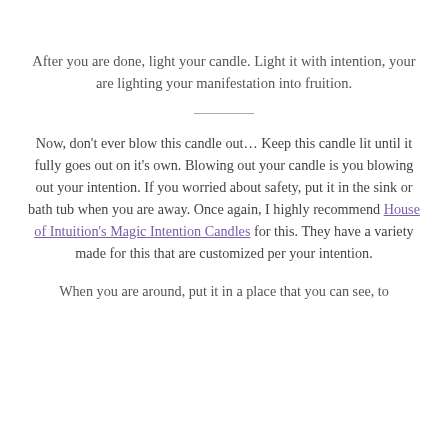After you are done, light your candle. Light it with intention, your are lighting your manifestation into fruition.
Now, don't ever blow this candle out… Keep this candle lit until it fully goes out on it's own. Blowing out your candle is you blowing out your intention. If you worried about safety, put it in the sink or bath tub when you are away. Once again, I highly recommend House of Intuition's Magic Intention Candles for this. They have a variety made for this that are customized per your intention.
When you are around, put it in a place that you can see, to